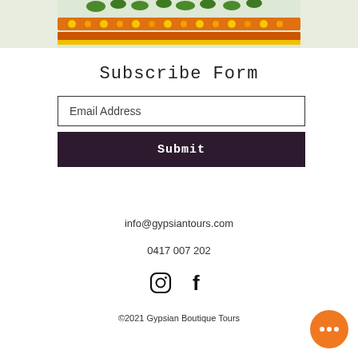[Figure (photo): A decorative floral garland photo strip at the top showing colorful orange, yellow, and green flowers/marigolds]
Subscribe Form
Email Address
Submit
info@gypsiantours.com
0417 007 202
[Figure (illustration): Instagram and Facebook social media icons]
©2021 Gypsian Boutique Tours